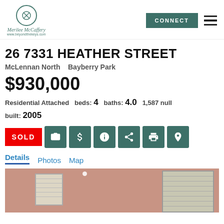Merilee McCaffery – www.beyondthekeys.com – CONNECT
26 7331 HEATHER STREET
McLennan North   Bayberry Park
$930,000
Residential Attached  beds: 4  baths: 4.0  1,587 null  built: 2005
SOLD
Details  Photos  Map
[Figure (photo): Interior photo of a room with windows and horizontal blinds, peachy-coral walls visible]